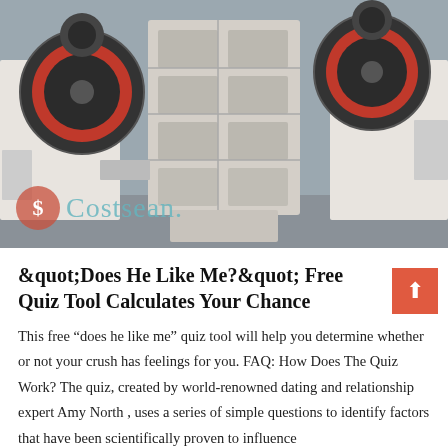[Figure (photo): Industrial jaw crusher machine with large red-rimmed flywheels on either side and a grid-like crushing chamber in the center, photographed in a factory setting. Costsean watermark overlaid at bottom left.]
"Does He Like Me?" Free Quiz Tool Calculates Your Chance
This free “does he like me” quiz tool will help you determine whether or not your crush has feelings for you. FAQ: How Does The Quiz Work? The quiz, created by world-renowned dating and relationship expert Amy North , uses a series of simple questions to identify factors that have been scientifically proven to influence